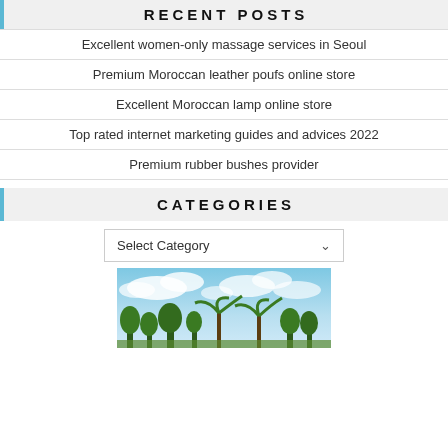RECENT POSTS
Excellent women-only massage services in Seoul
Premium Moroccan leather poufs online store
Excellent Moroccan lamp online store
Top rated internet marketing guides and advices 2022
Premium rubber bushes provider
CATEGORIES
Select Category
[Figure (photo): Outdoor photo showing blue sky with clouds and trees/palm trees in the foreground]